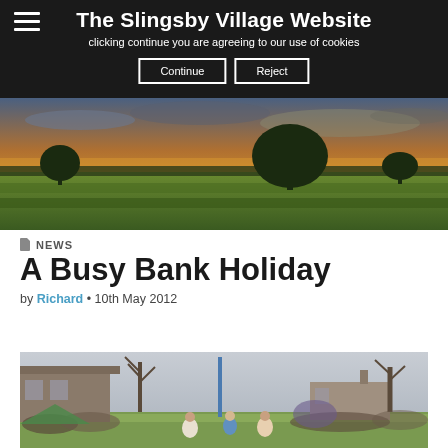The Slingsby Village Website
clicking continue you are agreeing to our use of cookies
Continue  Reject
[Figure (photo): Wide panoramic landscape photo of green fields at sunset with a large tree silhouetted against a dramatic golden and cloudy sky.]
NEWS
A Busy Bank Holiday
by Richard • 10th May 2012
[Figure (photo): Outdoor village event photo showing children and adults gathered on a green, with maypole dancing in progress. Stone buildings and bare trees visible in background.]